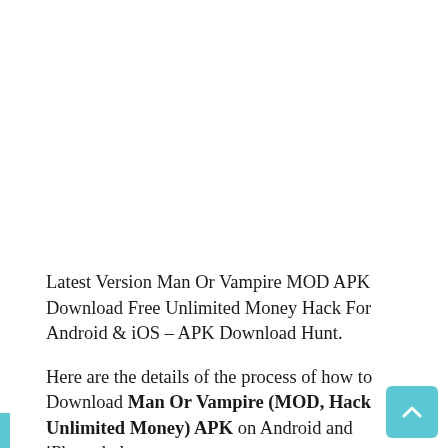Latest Version Man Or Vampire MOD APK Download Free Unlimited Money Hack For Android & iOS – APK Download Hunt.
Here are the details of the process of how to Download Man Or Vampire (MOD, Hack Unlimited Money) APK on Android and iPhone below.